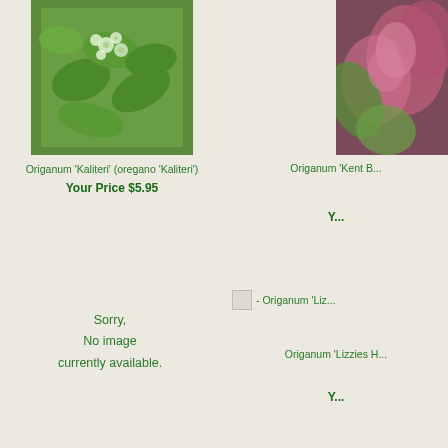[Figure (photo): Photo of Origanum Kaliteri plant with white small flowers and green leaves]
Origanum 'Kaliteri' (oregano 'Kaliteri')
Your Price $5.95
Sorry,
No image
currently available.
[Figure (photo): Partial photo of Origanum Kent Beauty plant with pink flowers, cropped at right edge]
Origanum 'Kent B...
Y...
[Figure (photo): Broken/missing image placeholder for Origanum Lizzies]
- Origanum 'Liz...
Origanum 'Lizzies H...
Y...